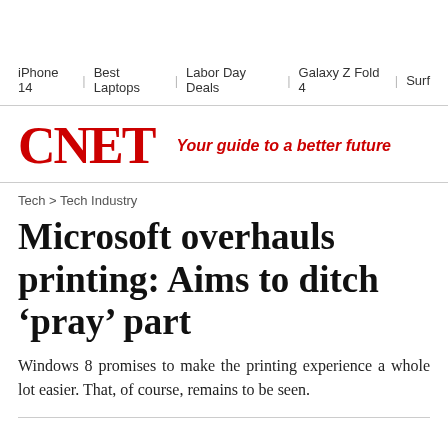iPhone 14 | Best Laptops | Labor Day Deals | Galaxy Z Fold 4 | Surf
[Figure (logo): CNET logo in red with tagline 'Your guide to a better future']
Tech > Tech Industry
Microsoft overhauls printing: Aims to ditch ‘pray’ part
Windows 8 promises to make the printing experience a whole lot easier. That, of course, remains to be seen.